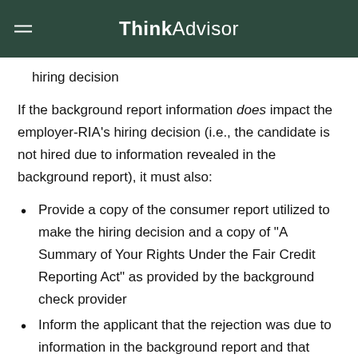ThinkAdvisor
hiring decision
If the background report information does impact the employer-RIA’s hiring decision (i.e., the candidate is not hired due to information revealed in the background report), it must also:
Provide a copy of the consumer report utilized to make the hiring decision and a copy of “A Summary of Your Rights Under the Fair Credit Reporting Act” as provided by the background check provider
Inform the applicant that the rejection was due to information in the background report and that